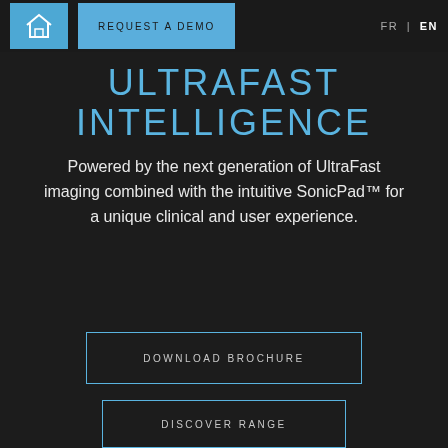REQUEST A DEMO  FR | EN
ULTRAFAST INTELLIGENCE
Powered by the next generation of UltraFast imaging combined with the intuitive SonicPad™ for a unique clinical and user experience.
DOWNLOAD BROCHURE
DISCOVER RANGE